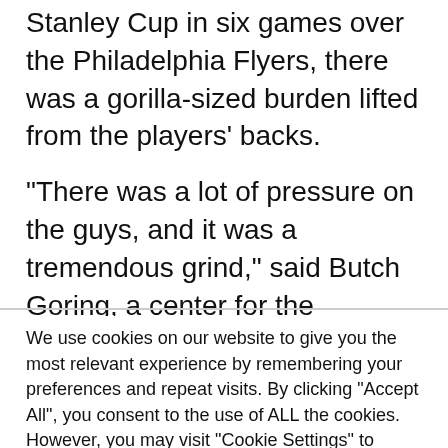Stanley Cup in six games over the Philadelphia Flyers, there was a gorilla-sized burden lifted from the players' backs.
“There was a lot of pressure on the guys, and it was a tremendous grind,” said Butch Goring, a center for the Islanders from 1980-85, “but we finally got it done, and there was tremendous relief throughout the entire organization. . ”
We use cookies on our website to give you the most relevant experience by remembering your preferences and repeat visits. By clicking “Accept All”, you consent to the use of ALL the cookies. However, you may visit "Cookie Settings" to provide a controlled consent.